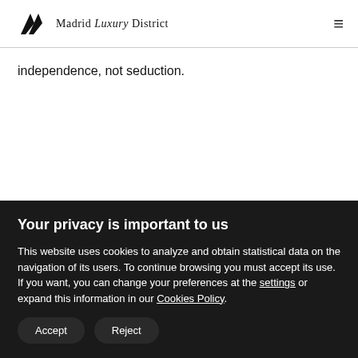Madrid Luxury District
independence, not seduction.
Your privacy is important to us
This website uses cookies to analyze and obtain statistical data on the navigation of its users. To continue browsing you must accept its use. If you want, you can change your preferences at the settings or expand this information in our Cookies Policy.
Accept
Reject